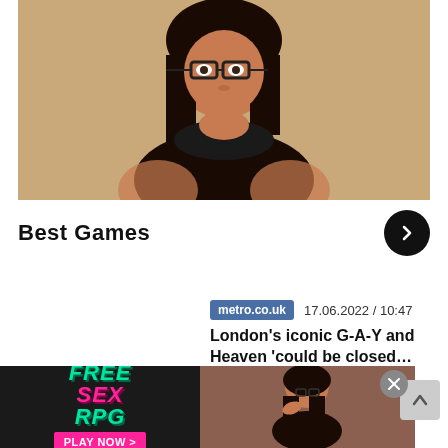[Figure (photo): Woman with dark hair and glasses looking at camera, wood background]
Best Games
metro.co.uk  17.06.2022 / 10:47
London's iconic G-A-Y and Heaven 'could be closed...
[Figure (advertisement): FREE SEX RPG - PLAY NOW advertisement with woman photo]